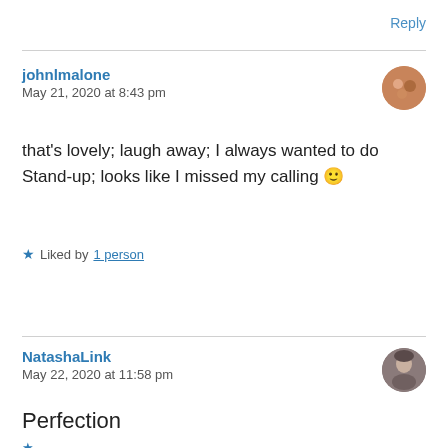Reply
johnlmalone
May 21, 2020 at 8:43 pm
that's lovely; laugh away; I always wanted to do Stand-up; looks like I missed my calling 🙂
★ Liked by 1 person
NatashaLink
May 22, 2020 at 11:58 pm
Perfection